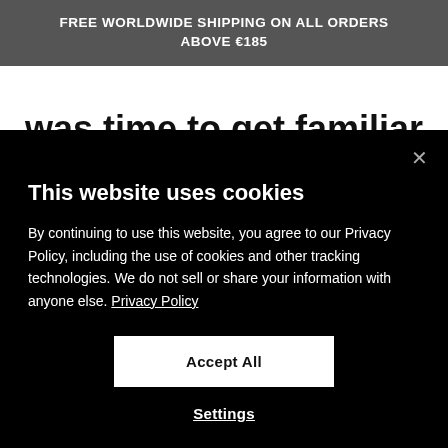FREE WORLDWIDE SHIPPING ON ALL ORDERS ABOVE €185
was time to get familiar
This website uses cookies
By continuing to use this website, you agree to our Privacy Policy, including the use of cookies and other tracking technologies. We do not sell or share your information with anyone else. Privacy Policy
Accept All
Settings